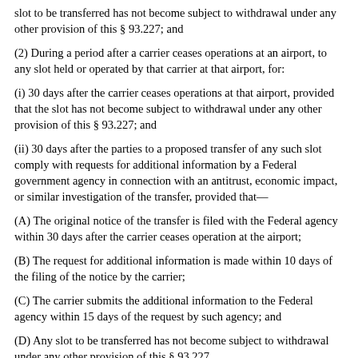slot to be transferred has not become subject to withdrawal under any other provision of this § 93.227; and
(2) During a period after a carrier ceases operations at an airport, to any slot held or operated by that carrier at that airport, for:
(i) 30 days after the carrier ceases operations at that airport, provided that the slot has not become subject to withdrawal under any other provision of this § 93.227; and
(ii) 30 days after the parties to a proposed transfer of any such slot comply with requests for additional information by a Federal government agency in connection with an antitrust, economic impact, or similar investigation of the transfer, provided that—
(A) The original notice of the transfer is filed with the Federal agency within 30 days after the carrier ceases operation at the airport;
(B) The request for additional information is made within 10 days of the filing of the notice by the carrier;
(C) The carrier submits the additional information to the Federal agency within 15 days of the request by such agency; and
(D) Any slot to be transferred has not become subject to withdrawal under any other provision of this § 93.227.
(e) Persons having slots withdrawn pursuant to paragraph (a) of this section must cease all use of those slots upon